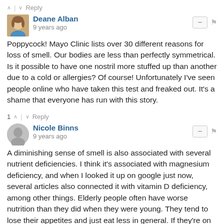^ | v Reply
Deane Alban
9 years ago
Poppycock! Mayo Clinic lists over 30 different reasons for loss of smell. Our bodies are less than perfectly symmetrical. Is it possible to have one nostril more stuffed up than another due to a cold or allergies? Of course! Unfortunately I've seen people online who have taken this test and freaked out. It's a shame that everyone has run with this story.
1 ^ | v Reply
Nicole Binns
9 years ago
A diminishing sense of smell is also associated with several nutrient deficiencies. I think it's associated with magnesium deficiency, and when I looked it up on google just now, several articles also connected it with vitamin D deficiency, among other things. Elderly people often have worse nutrition than they did when they were young. They tend to lose their appetites and just eat less in general. If they're on drugs that interfere with nutrients in the body, even worse.